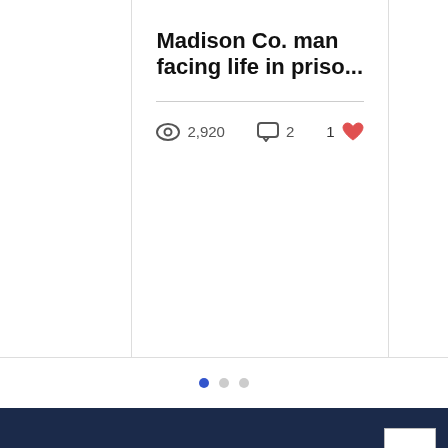Madison Co. man facing life in priso...
2,920 views  2 comments  1 like
[Figure (other): Pagination dots: one active blue dot and two inactive grey dots]
Subscribe to Our Newsletter
Enter your email here*
Subscribe